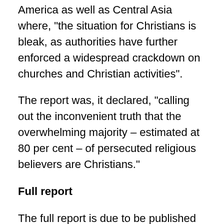America as well as Central Asia where, "the situation for Christians is bleak, as authorities have further enforced a widespread crackdown on churches and Christian activities".
The report was, it declared, "calling out the inconvenient truth that the overwhelming majority – estimated at 80 per cent – of persecuted religious believers are Christians."
Full report
The full report is due to be published in June, when it will make its recommendations for to the government. The Bishop of Truro is already flagging up the direction those recommendations might take: